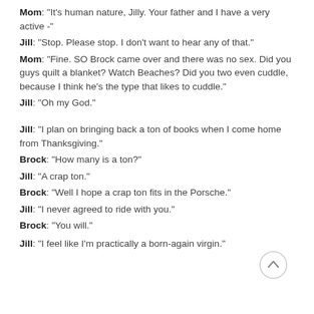Mom: "It's human nature, Jilly.  Your father and I have a very active -"
Jill:  "Stop.  Please stop.  I don't want to hear any of that."
Mom:  "Fine.  SO Brock came over and there was no sex.  Did you guys quilt a blanket?  Watch Beaches?  Did you two even cuddle, because I think he's the type that likes to cuddle."
Jill:  "Oh my God."
Jill:  "I plan on bringing back a ton of books when I come home from Thanksgiving."
Brock:  "How many is a ton?"
Jill:  "A crap ton."
Brock:  "Well  I hope a crap ton fits in the Porsche."
Jill:  "I never agreed to ride with you."
Brock:  "You will."
Jill:  "I feel like I'm practically a born-again virgin."